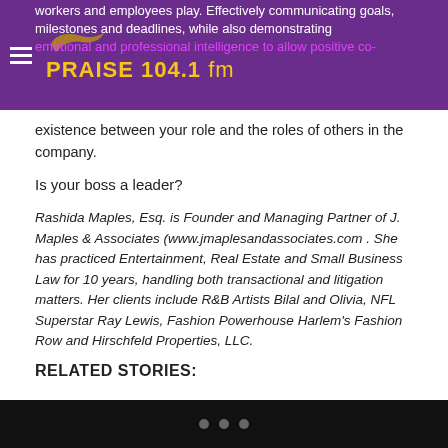Praise 104.1 fm
workers and employees play. Effectively communicating goals, milestones and deadlines, while also demonstrating emotional and professional intelligence to allow positive co-existence between your role and the roles of others in the company.
Is your boss a leader?
Rashida Maples, Esq. is Founder and Managing Partner of J. Maples & Associates (www.jmaplesandassociates.com . She has practiced Entertainment, Real Estate and Small Business Law for 10 years, handling both transactional and litigation matters. Her clients include R&B Artists Bilal and Olivia, NFL Superstar Ray Lewis, Fashion Powerhouse Harlem's Fashion Row and Hirschfeld Properties, LLC.
RELATED STORIES: